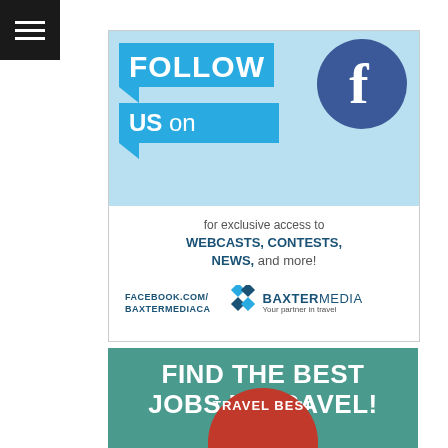[Figure (illustration): Hamburger menu icon (three white horizontal bars on black background) in top-left corner]
[Figure (illustration): Facebook follow advertisement: 'FOLLOW US on' speech bubbles in cyan, Facebook circle logo in blue, text 'for exclusive access to WEBCASTS, CONTESTS, NEWS, and more!', URL FACEBOOK.COM/BAXTERMEDIACA, and Baxter Media logo with tagline 'Your partner in travel']
[Figure (illustration): Travel jobs advertisement on teal background: 'FIND THE BEST JOBS IN TRAVEL!' in white bold text, with red circular element at bottom showing 'TRAVEL BEST']